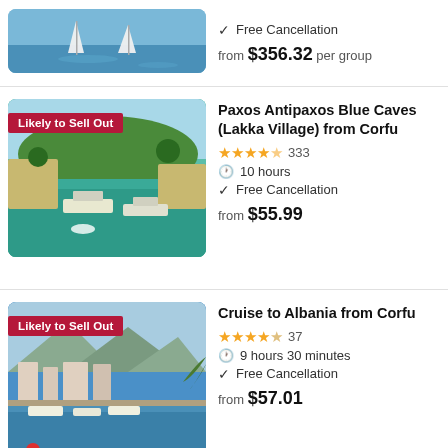[Figure (photo): Sailboats on blue sea (partial top listing)]
Free Cancellation
from $356.32 per group
[Figure (photo): Aerial view of Paxos blue caves and harbor with cruise ships, labeled Likely to Sell Out]
Paxos Antipaxos Blue Caves (Lakka Village) from Corfu
★★★★½ 333
10 hours
Free Cancellation
from $55.99
[Figure (photo): Scenic harbor in Albania with boats and mountains, labeled Likely to Sell Out]
Cruise to Albania from Corfu
★★★★☆ 37
9 hours 30 minutes
Free Cancellation
from $57.01